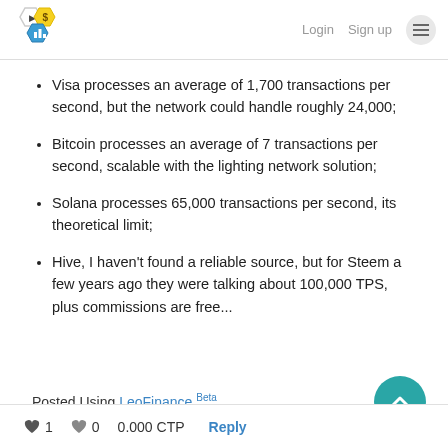Login  Sign up  ☰
Visa processes an average of 1,700 transactions per second, but the network could handle roughly 24,000;
Bitcoin processes an average of 7 transactions per second, scalable with the lighting network solution;
Solana processes 65,000 transactions per second, its theoretical limit;
Hive, I haven't found a reliable source, but for Steem a few years ago they were talking about 100,000 TPS, plus commissions are free...
Posted Using LeoFinance Beta
♥ 1   ♥ 0   0.000 CTP   Reply